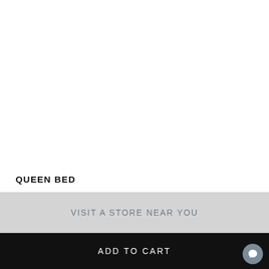QUEEN BED
VISIT A STORE NEAR YOU
ADD TO CART